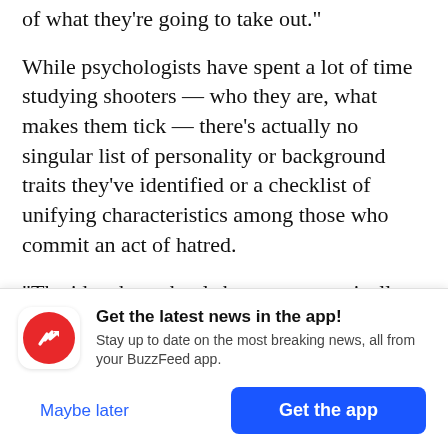of what they’re going to take out.”
While psychologists have spent a lot of time studying shooters — who they are, what makes them tick — there’s actually no singular list of personality or background traits they’ve identified or a checklist of unifying characteristics among those who commit an act of hatred.
“The idea that school shooters are typically outcasts, misfits, loners who are bullied into retaliation is largely inaccurate,” Langman said
[Figure (screenshot): BuzzFeed app notification overlay with red circular logo with white trending arrow icon, text 'Get the latest news in the app! Stay up to date on the most breaking news, all from your BuzzFeed app.' and two buttons: 'Maybe later' and 'Get the app']